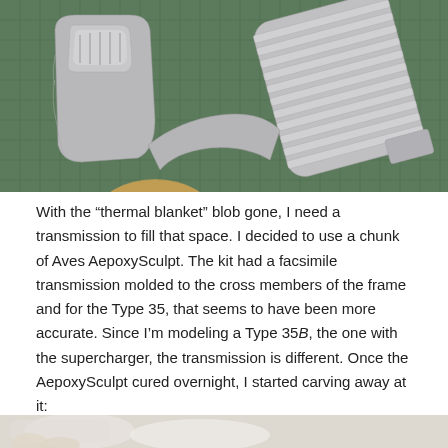[Figure (photo): Photo of gray resin model kit parts (transmission/engine components) on a green cutting mat background. Parts appear to be disassembled, showing detailed ribbed and curved surfaces.]
With the “thermal blanket” blob gone, I need a transmission to fill that space. I decided to use a chunk of Aves AepoxySculpt. The kit had a facsimile transmission molded to the cross members of the frame and for the Type 35, that seems to have been more accurate. Since I’m modeling a Type 35B, the one with the supercharger, the transmission is different. Once the AepoxySculpt cured overnight, I started carving away at it:
[Figure (photo): Partial photo at bottom of page showing white/light colored model kit parts being worked on.]